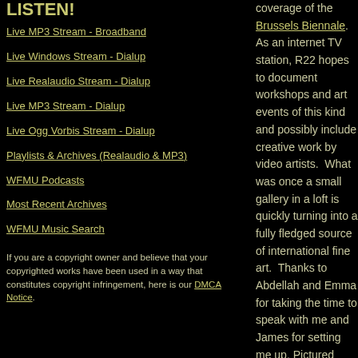LISTEN!
Live MP3 Stream - Broadband
Live Windows Stream - Dialup
Live Realaudio Stream - Dialup
Live MP3 Stream - Dialup
Live Ogg Vorbis Stream - Dialup
Playlists & Archives (Realaudio & MP3)
WFMU Podcasts
Most Recent Archives
WFMU Music Search
If you are a copyright owner and believe that your copyrighted works have been used in a way that constitutes copyright infringement, here is our DMCA Notice.
coverage of the Brussels Biennale. As an internet TV station, R22 hopes to document workshops and art events of this kind and possibly include creative work by video artists.  What was once a small gallery in a loft is quickly turning into a fully fledged source of international fine art.  Thanks to Abdellah and Emma for taking the time to speak with me and James for setting me up. Pictured from left to